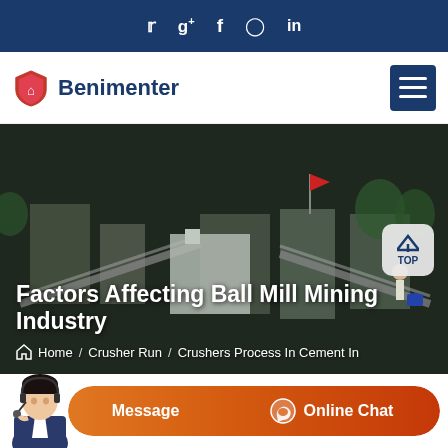Social icons: Twitter, Google+, Facebook, Instagram, LinkedIn
[Figure (logo): Benimenter logo with shield icon and brand name in dark blue]
[Figure (photo): Industrial mining facility with conveyor belts, machinery and construction equipment]
Factors Affecting Ball Mill Mining Industry
Home / Crusher Run / Crushers Process In Cement In
[Figure (infographic): Customer support chat bar with agent photo, Message button and Online Chat button]